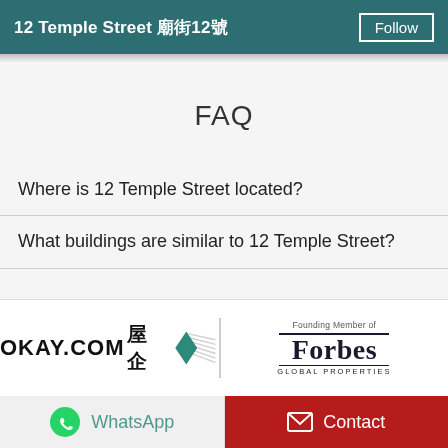12 Temple Street 廟街12號 Follow
FAQ
Where is 12 Temple Street located?
What buildings are similar to 12 Temple Street?
[Figure (logo): OKAY.COM 屋企 logo with teal diamond and silver swoosh graphic, alongside Forbes Global Properties 'Founding Member of' badge]
WhatsApp
Contact